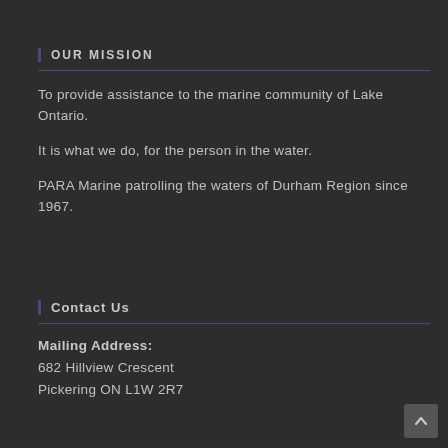OUR MISSION
To provide assistance to the marine community of Lake Ontario.
It is what we do, for the person in the water.
PARA Marine patrolling the waters of Durham Region since 1967.
Contact Us
Mailing Address:
682 Hillview Crescent
Pickering ON L1W 2R7